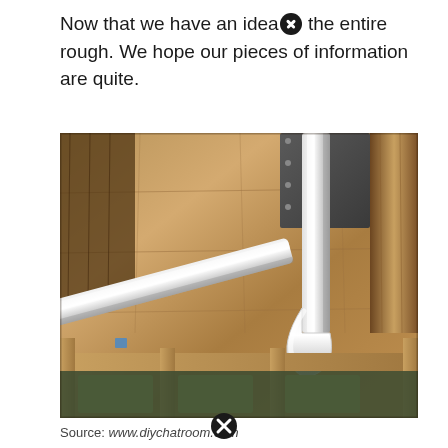Now that we have an idea[X] the entire rough. We hope our pieces of information are quite.
[Figure (photo): Photograph taken from below showing white PVC plumbing pipes including a P-trap connected to a vertical pipe, mounted against OSB plywood subfloor with wooden framing visible below.]
Source: www.diychatroom.com